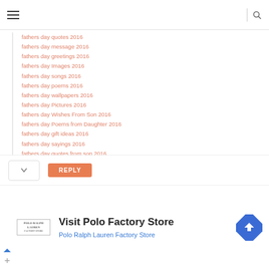Navigation header with hamburger menu and search icon
fathers day quotes 2016
fathers day message 2016
fathers day greetings 2016
fathers day Images 2016
fathers day songs 2016
fathers day poems 2016
fathers day wallpapers 2016
fathers day Pictures 2016
fathers day Wishes From Son 2016
fathers day Poems from Daughter 2016
fathers day gift ideas 2016
fathers day sayings 2016
fathers day quotes from son 2016
fathers day message for facebook 2016
fathers day cards 2016
fathers day whatsapp status 2016
REPLY
[Figure (infographic): Advertisement banner for Visit Polo Factory Store / Polo Ralph Lauren Factory Store with logo and directional road sign icon]